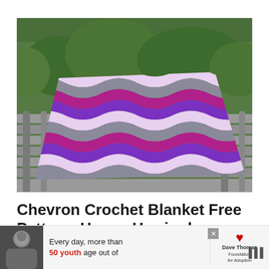[Figure (photo): A chevron/herringbone crochet blanket in purple, magenta, grey, and white zigzag stripes draped over a wooden garden bench, with green garden plants visible in the background.]
Chevron Crochet Blanket Free Pattern- Happy Herringbone
[Figure (photo): Advertisement banner: black and white photo of a person on the left, text reading 'Every day, more than 50 youth age out of', Dave Thomas Foundation for Adoption logo on the right.]